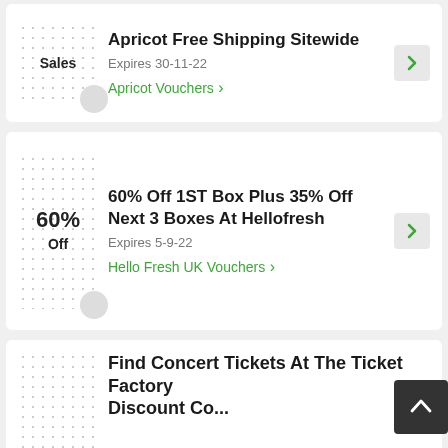Apricot Free Shipping Sitewide
Expires 30-11-22
Apricot Vouchers ›
60% Off 1ST Box Plus 35% Off Next 3 Boxes At Hellofresh
Expires 5-9-22
Hello Fresh UK Vouchers ›
Find Concert Tickets At The Ticket Factory Discount Code